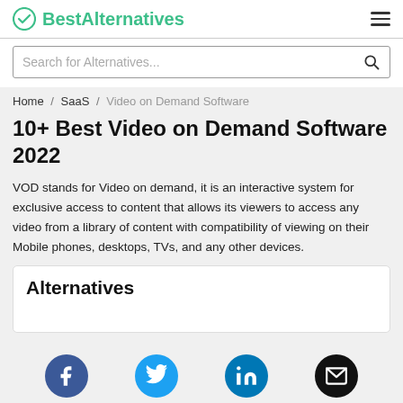BestAlternatives
Search for Alternatives...
Home / SaaS / Video on Demand Software
10+ Best Video on Demand Software 2022
VOD stands for Video on demand, it is an interactive system for exclusive access to content that allows its viewers to access any video from a library of content with compatibility of viewing on their Mobile phones, desktops, TVs, and any other devices.
Alternatives
[Figure (infographic): Social sharing icons: Facebook, Twitter, LinkedIn, Email]